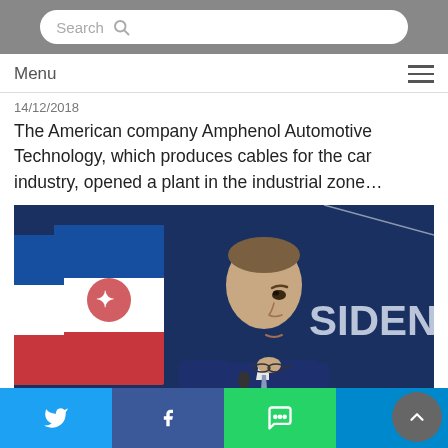Search
Menu
14/12/2018
The American company Amphenol Automotive Technology, which produces cables for the car industry, opened a plant in the industrial zone…
[Figure (photo): Man in blue suit at podium with Serbian flags in background, text 'SIDEN' visible on backdrop]